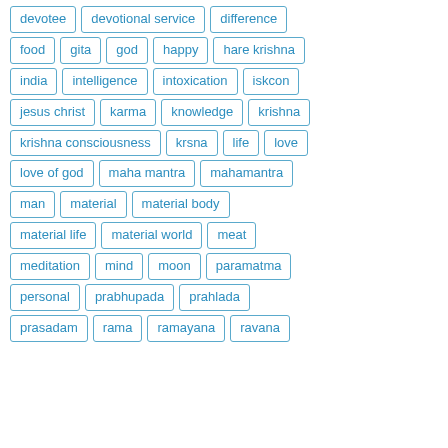devotee
devotional service
difference
food
gita
god
happy
hare krishna
india
intelligence
intoxication
iskcon
jesus christ
karma
knowledge
krishna
krishna consciousness
krsna
life
love
love of god
maha mantra
mahamantra
man
material
material body
material life
material world
meat
meditation
mind
moon
paramatma
personal
prabhupada
prahlada
prasadam
rama
ramayana
ravana